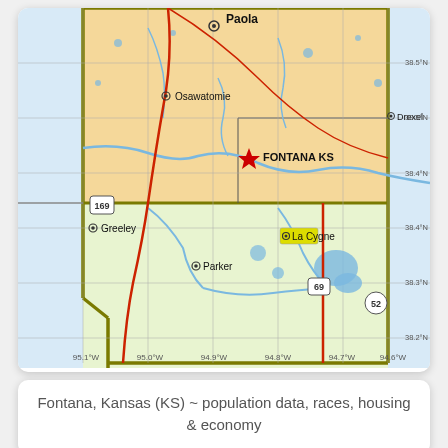[Figure (map): Map showing Fontana, KS area with surrounding towns (Paola, Osawatomie, Greeley, Parker, La Cygne, Drexel), roads (US 169, US 69, route 52), and geographic coordinates. Fontana KS marked with a red star icon. County boundary shown with olive/dark yellow border. Blue water features and tan/orange county fill.]
Fontana, Kansas (KS) ~ population data, races, housing & economy
[Figure (map): Partial map showing bottom portion of another Kansas area map with route markers 89, 12, and 83 visible.]